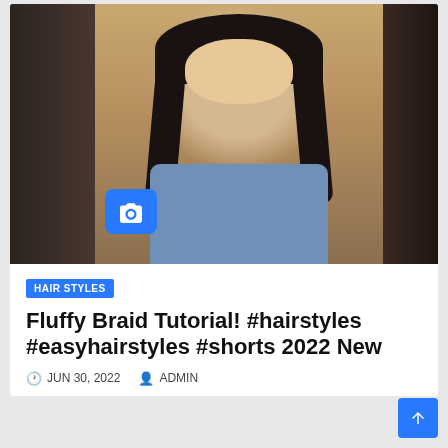[Figure (photo): A young woman with long dark braided hair wearing a blue ruched tank top, posing with her hands raised in a peace/claw gesture. The center photo is flanked by blurred dark side panels. A blue camera icon badge appears in the lower-left area of the image.]
HAIR STYLES
Fluffy Braid Tutorial! #hairstyles #easyhairstyles #shorts 2022 New
JUN 30, 2022  ADMIN